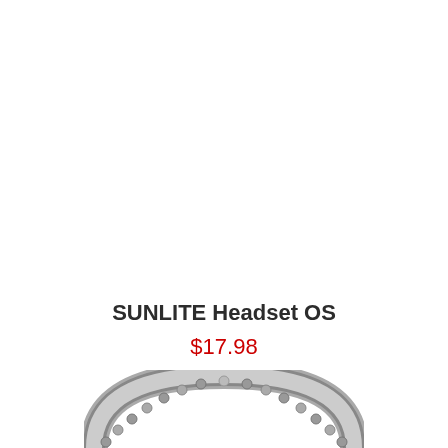SUNLITE Headset OS
$17.98
[Figure (photo): Bottom portion of a silver/chrome bicycle headset showing the arched top section with a beaded/textured surface visible against a white background.]